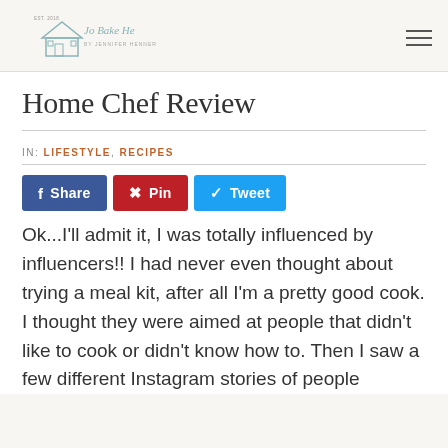Jo Bake He — blog logo header with hamburger menu
Home Chef Review
IN: LIFESTYLE, RECIPES
[Figure (other): Social share buttons: Share (Facebook, blue), Pin (Pinterest, red), Tweet (Twitter, light blue)]
Ok...I'll admit it, I was totally influenced by influencers!! I had never even thought about trying a meal kit, after all I'm a pretty good cook. I thought they were aimed at people that didn't like to cook or didn't know how to. Then I saw a few different Instagram stories of people